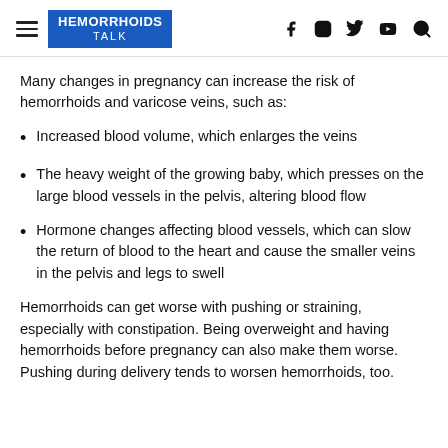HEMORRHOIDS TALK
Many changes in pregnancy can increase the risk of hemorrhoids and varicose veins, such as:
Increased blood volume, which enlarges the veins
The heavy weight of the growing baby, which presses on the large blood vessels in the pelvis, altering blood flow
Hormone changes affecting blood vessels, which can slow the return of blood to the heart and cause the smaller veins in the pelvis and legs to swell
Hemorrhoids can get worse with pushing or straining, especially with constipation. Being overweight and having hemorrhoids before pregnancy can also make them worse. Pushing during delivery tends to worsen hemorrhoids, too.